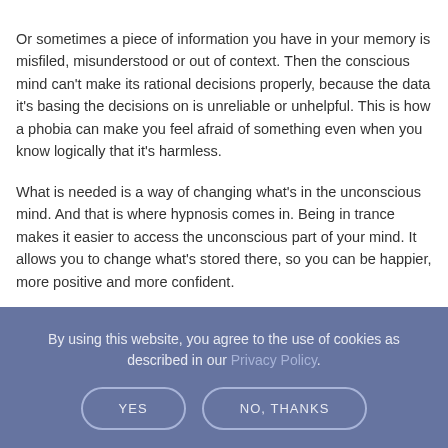Or sometimes a piece of information you have in your memory is misfiled, misunderstood or out of context. Then the conscious mind can't make its rational decisions properly, because the data it's basing the decisions on is unreliable or unhelpful. This is how a phobia can make you feel afraid of something even when you know logically that it's harmless.
What is needed is a way of changing what's in the unconscious mind. And that is where hypnosis comes in. Being in trance makes it easier to access the unconscious part of your mind. It allows you to change what's stored there, so you can be happier, more positive and more confident.
By using this website, you agree to the use of cookies as described in our Privacy Policy.